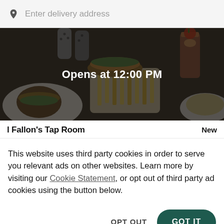Enter delivery address
[Figure (photo): Overhead photo of restaurant food including burgers, fries, and drinks on a dark table, with a dark overlay showing 'Opens at 12:00 PM']
l Fallon's Tap Room
New
This website uses third party cookies in order to serve you relevant ads on other websites. Learn more by visiting our Cookie Statement, or opt out of third party ad cookies using the button below.
OPT OUT
GOT IT